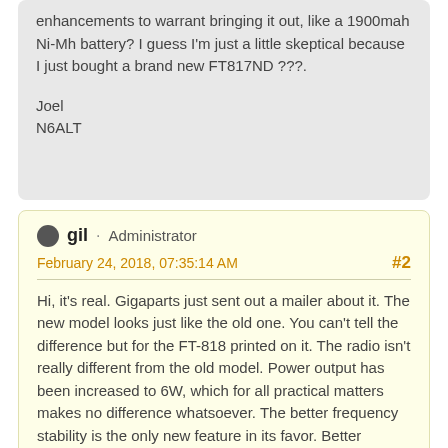enhancements to warrant bringing it out, like a 1900mah Ni-Mh battery? I guess I'm just a little skeptical because I just bought a brand new FT817ND ???.
Joel
N6ALT
gil · Administrator
February 24, 2018, 07:35:14 AM
#2
Hi, it's real. Gigaparts just sent out a mailer about it. The new model looks just like the old one. You can't tell the difference but for the FT-818 printed on it. The radio isn't really different from the old model. Power output has been increased to 6W, which for all practical matters makes no difference whatsoever. The better frequency stability is the only new feature in its favor. Better battery capacity? So what? There are already better batteries available from other vendors. No info on current draw yet, but I suspect it will just be the same. So, the FT-818 is an FT-817nd with a new name, created for marketing purposes; disappointing...